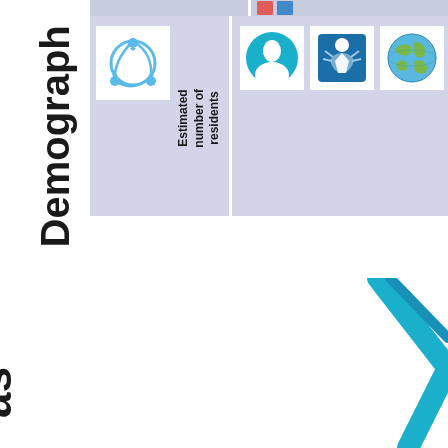Demograph
[Figure (infographic): Table header area with icons and rotated labels. Left column: recycling/people icon with label 'Estimated number of residents'. Right column: three icons (person silhouette, person at desk/screen, globe) with label 'Who lives there?']
as